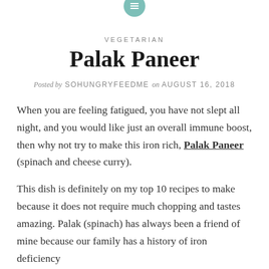[Figure (logo): Teal circular icon at top center of the page]
VEGETARIAN
Palak Paneer
Posted by SOHUNGRYFEEDME on AUGUST 16, 2018
When you are feeling fatigued, you have not slept all night, and you would like just an overall immune boost, then why not try to make this iron rich, Palak Paneer (spinach and cheese curry).
This dish is definitely on my top 10 recipes to make because it does not require much chopping and tastes amazing. Palak (spinach) has always been a friend of mine because our family has a history of iron deficiency